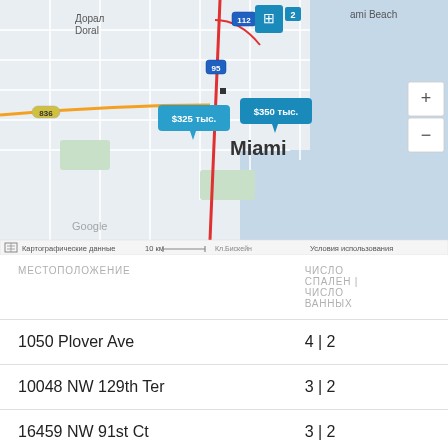[Figure (map): Google Map centered on Miami area showing property price markers: $325 тыс. and $350 тыс. near Miami. Map shows roads, highways (95, 112, 836), neighborhoods including Doral and Miami Beach. Bottom bar shows cartographic data, 10 km scale, and usage terms in Russian.]
| МЕСТОПОЛОЖЕНИЕ | ЧИСЛО СПАЛЕН | ЧИСЛО ВАННЫХ |
| --- | --- |
| 1050 Plover Ave | 4 | 2 |
| 10048 NW 129th Ter | 3 | 2 |
| 16459 NW 91st Ct | 3 | 2 |
| 8777 Collins Ave , 807 | 1 | 2 |